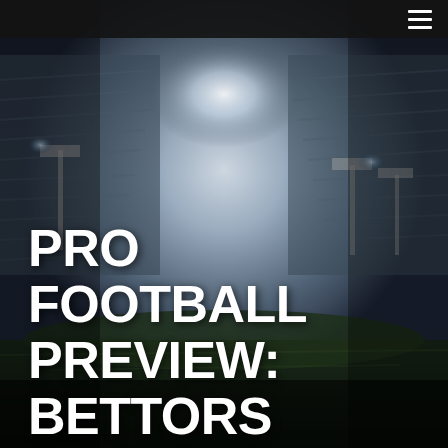[Figure (photo): A football stadium at night with bright floodlights illuminating the field and stands, viewed from field level. The image has a dramatic, dark atmosphere with bright light beams in the center background.]
≡
PRO FOOTBALL PREVIEW: BETTORS BACKING DENVER TO GO OVER WIN TOTAL